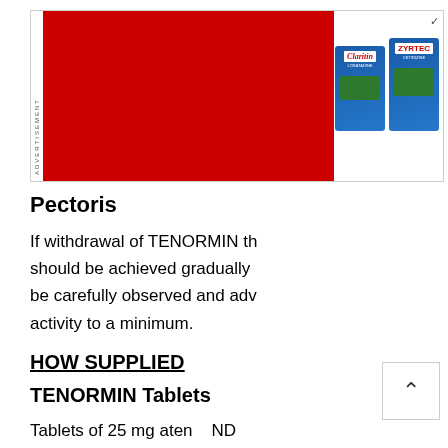[Figure (photo): Advertisement banner with red background on left and product photos of Claritin and Zyrtec on right, with 'ADVERTISEMENT' text vertically on left edge]
Pectoris
If withdrawal of TENORMIN th should be achieved gradually be carefully observed and adv activity to a minimum.
HOW SUPPLIED
TENORMIN Tablets
Tablets of 25 mg aten ND flat, uncoated white tablets ic